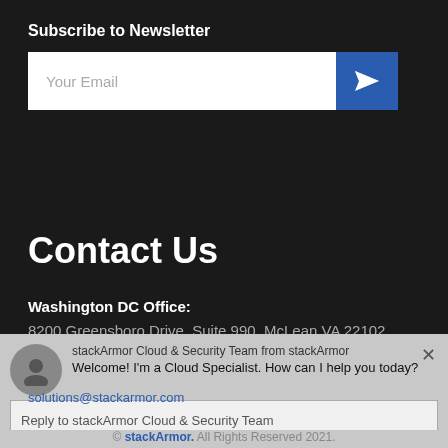Subscribe to Newsletter
[Figure (screenshot): Email subscription input field with placeholder 'Your Email' and a blue send button with paper plane icon]
Contact Us
Washington DC Office:
8200 Greensboro Drive, Suite 990, McLean VA 22102
Email:
[Figure (screenshot): Chat popup overlay with avatar, sender 'stackArmor Cloud & Security Team from stackArmor', message 'Welcome! I'm a Cloud Specialist. How can I help you today?', reply input box, and close button]
© stackArmor. All Rights Reserved 2021.